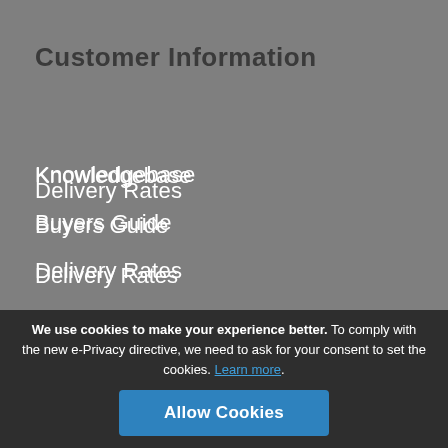Customer Information
Knowledgebase
Buyers Guide
Delivery Rates
Professional Accreditation
Terms & Conditions
Privacy Policy
We use cookies to make your experience better. To comply with the new e-Privacy directive, we need to ask for your consent to set the cookies. Learn more.
Allow Cookies